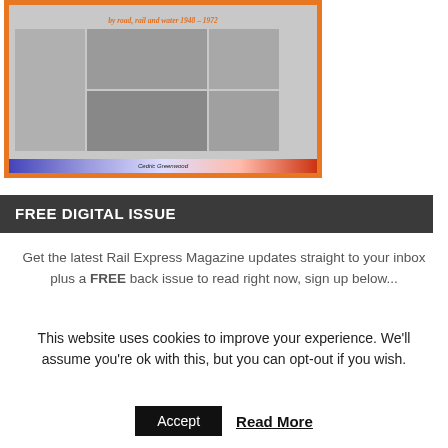[Figure (illustration): Book cover with orange border showing historical transport photographs (road, rail and water 1948-1972) with title text and author name 'Cedric Greenwood' at bottom, on a gradient bar footer]
FREE DIGITAL ISSUE
Get the latest Rail Express Magazine updates straight to your inbox plus a FREE back issue to read right now, sign up below...
This website uses cookies to improve your experience. We'll assume you're ok with this, but you can opt-out if you wish.
Accept   Read More